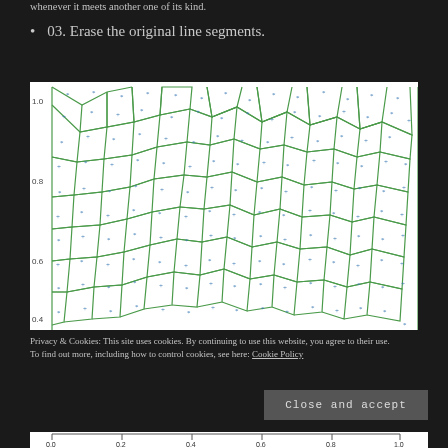whenever it meets another one of its kind.
03. Erase the original line segments.
[Figure (other): A Voronoi diagram plotted on white background with green cell boundary lines and blue dot markers (seed points). Y-axis labeled from 0.4 to 1.0, showing a partial view of the full diagram. The diagram contains many irregular polygonal cells each with a blue point inside.]
Privacy & Cookies: This site uses cookies. By continuing to use this website, you agree to their use.
To find out more, including how to control cookies, see here: Cookie Policy
Close and accept
[Figure (other): Bottom axis bar showing x-axis labels: 0.0, 0.2, 0.4, 0.6, 0.8, 1.0]